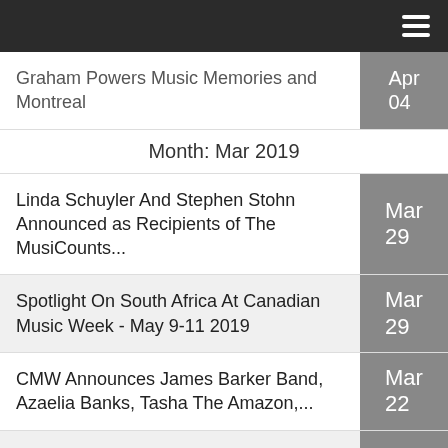Graham Powers Music Memories and Montreal — Apr 04
Month: Mar 2019
Linda Schuyler And Stephen Stohn Announced as Recipients of The MusiCounts... — Mar 29
Spotlight On South Africa At Canadian Music Week - May 9-11 2019 — Mar 29
CMW Announces James Barker Band, Azaelia Banks, Tasha The Amazon,... — Mar 22
Federal Budget Amps Up Support for Canadian Music — Mar 22
Grunge: Rise of A Generation — Mar 15